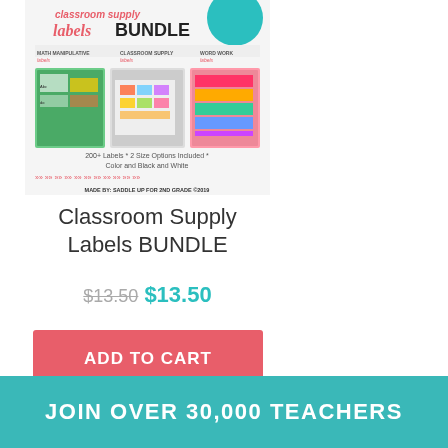[Figure (illustration): Product cover image for Classroom Supply Labels BUNDLE showing colorful label examples, classroom photos, and text: 200+ Labels * 2 Size Options Included * Color and Black and White, Made by: Saddle Up for 2nd Grade]
Classroom Supply Labels BUNDLE
$13.50 $13.50
ADD TO CART
JOIN OVER 30,000 TEACHERS